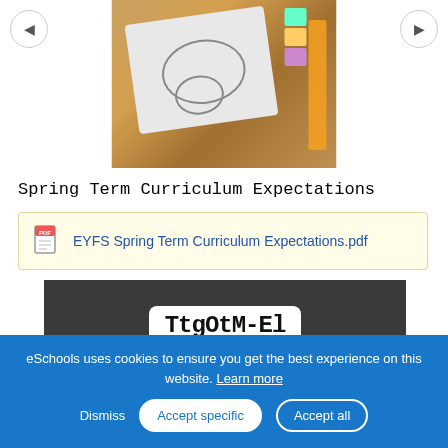[Figure (photo): Classroom photo showing a worksheet with circles and colored manipulatives on a wooden table]
Spring Term Curriculum Expectations
EYFS Spring Term Curriculum Expectations.pdf
[Figure (photo): Photo of a handwritten card with letters/text on dark background]
eSchools uses cookies to ensure you get the best experience on this website. Learn more
Dismiss  Accept specific  Accept all